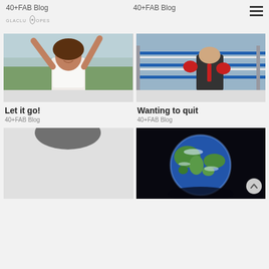40+FAB Blog
40+FAB Blog
[Figure (photo): Happy woman with arms raised outdoors]
[Figure (photo): Boxer leaning on boxing ring ropes]
Let it go!
40+FAB Blog
Wanting to quit
40+FAB Blog
[Figure (photo): Partial photo of person's head, mostly obscured]
[Figure (photo): Photo of planet Earth from space on dark background]